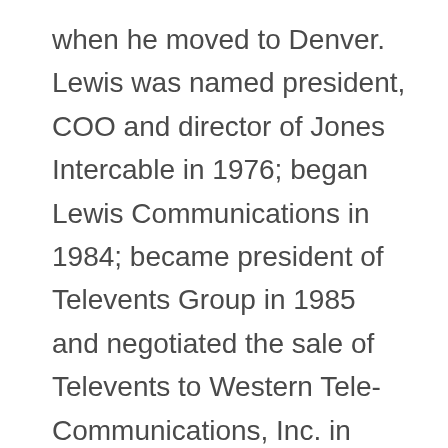when he moved to Denver. Lewis was named president, COO and director of Jones Intercable in 1976; began Lewis Communications in 1984; became president of Televents Group in 1985 and negotiated the sale of Televents to Western Tele-Communications, Inc. in 1986. Professional Associations: Member, board of directors, Cable in the Classroom. Professional Accomplishments: Lewis is recognized as a pioneer in the cable television industry, first helping the fledgling Vumore Company grow and serving as president of Jones Intercable